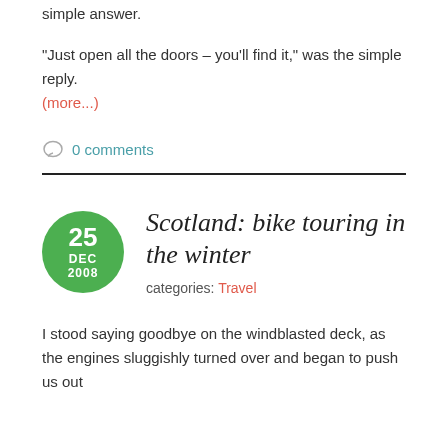simple answer.
“Just open all the doors – you’ll find it,” was the simple reply.
(more...)
0 comments
Scotland: bike touring in the winter
categories: Travel
I stood saying goodbye on the windblasted deck, as the engines sluggishly turned over and began to push us out